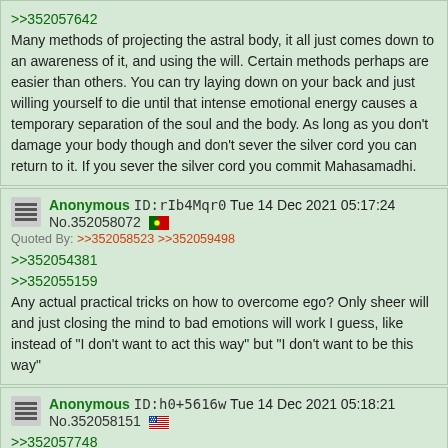>>352057642
Many methods of projecting the astral body, it all just comes down to an awareness of it, and using the will. Certain methods perhaps are easier than others. You can try laying down on your back and just willing yourself to die until that intense emotional energy causes a temporary separation of the soul and the body. As long as you don't damage your body though and don't sever the silver cord you can return to it. If you sever the silver cord you commit Mahasamadhi.
Anonymous ID:rIb4Mqr0 Tue 14 Dec 2021 05:17:24 No.352058072
Quoted By: >>352058523 >>352059498
>>352054381
>>352055159
Any actual practical tricks on how to overcome ego? Only sheer will and just closing the mind to bad emotions will work I guess, like instead of "I don't want to act this way" but "I don't want to be this way"
Anonymous ID:h0+5616w Tue 14 Dec 2021 05:18:21 No.352058151
>>352057748
I've seen people reference deers with large antlers and rabbits in regards to spirituality. But what exactly is those animals significance? It is archetypal phycology?